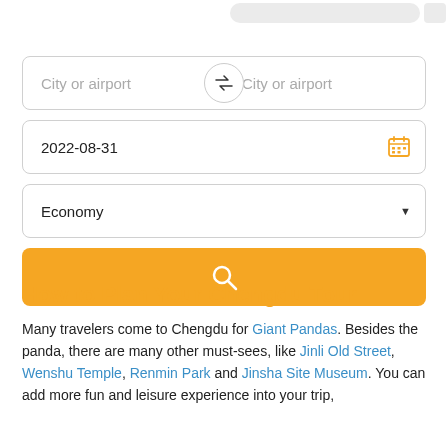[Figure (screenshot): Top search bar pill and button, partially visible at top of page]
[Figure (screenshot): Flight search form with two 'City or airport' fields with swap button, a date field showing '2022-08-31' with calendar icon, an 'Economy' dropdown, and an orange search button]
How to Plan Your Chengdu Tour
Many travelers come to Chengdu for Giant Pandas. Besides the panda, there are many other must-sees, like Jinli Old Street, Wenshu Temple, Renmin Park and Jinsha Site Museum. You can add more fun and leisure experience into your trip,